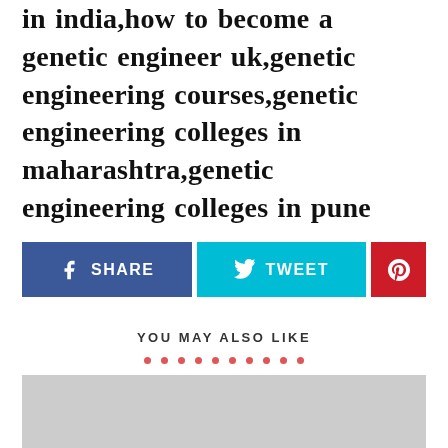in india,how to become a genetic engineer uk,genetic engineering courses,genetic engineering colleges in maharashtra,genetic engineering colleges in pune
[Figure (infographic): Social share buttons: Facebook SHARE (dark blue), Twitter TWEET (cyan/teal), Pinterest icon (red)]
YOU MAY ALSO LIKE
[Figure (photo): Gray placeholder image at the bottom of the page]